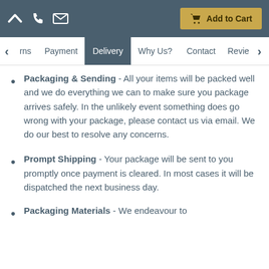Add to Cart
rns | Payment | Delivery | Why Us? | Contact | Revie
Packaging & Sending - All your items will be packed well and we do everything we can to make sure you package arrives safely. In the unlikely event something does go wrong with your package, please contact us via email. We do our best to resolve any concerns.
Prompt Shipping - Your package will be sent to you promptly once payment is cleared. In most cases it will be dispatched the next business day.
Packaging Materials - We endeavour to